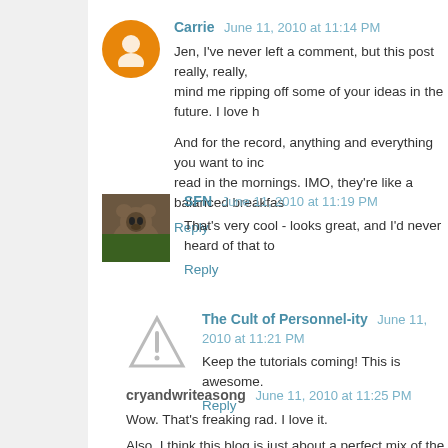Carrie  June 11, 2010 at 11:14 PM
Jen, I've never left a comment, but this post really, really, mind me ripping off some of your ideas in the future. I love h
And for the record, anything and everything you want to inc read in the mornings. IMO, they're like a balanced breakfas
Reply
SFN  June 11, 2010 at 11:19 PM
That's very cool - looks great, and I'd never heard of that to
Reply
The Cult of Personnel-ity  June 11, 2010 at 11:21 PM
Keep the tutorials coming! This is awesome.
Reply
cryandwriteasong  June 11, 2010 at 11:25 PM
Wow. That's freaking rad. I love it.
Also, I think this blog is just about a perfect mix of the vari both your blogs. :)